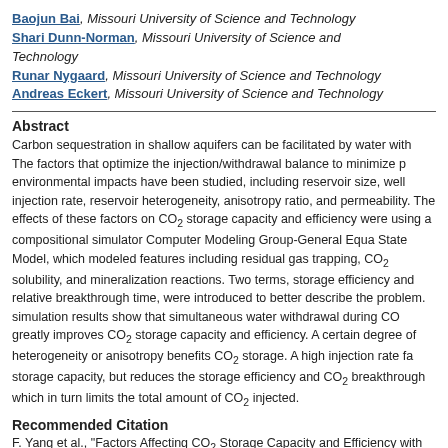Baojun Bai, Missouri University of Science and Technology
Shari Dunn-Norman, Missouri University of Science and Technology
Runar Nygaard, Missouri University of Science and Technology
Andreas Eckert, Missouri University of Science and Technology
Abstract
Carbon sequestration in shallow aquifers can be facilitated by water with The factors that optimize the injection/withdrawal balance to minimize p environmental impacts have been studied, including reservoir size, well injection rate, reservoir heterogeneity, anisotropy ratio, and permeability. The effects of these factors on CO₂ storage capacity and efficiency were using a compositional simulator Computer Modeling Group-General Equ State Model, which modeled features including residual gas trapping, CO₂ solubility, and mineralization reactions. Two terms, storage efficiency a relative breakthrough time, were introduced to better describe the problem. simulation results show that simultaneous water withdrawal during CO greatly improves CO₂ storage capacity and efficiency. A certain degree of heterogeneity or anisotropy benefits CO₂ storage. A high injection rate fa storage capacity, but reduces the storage efficiency and CO₂ breakthrough which in turn limits the total amount of CO₂ injected.
Recommended Citation
F. Yang et al., "Factors Affecting CO₂ Storage Capacity and Efficiency with Wat...